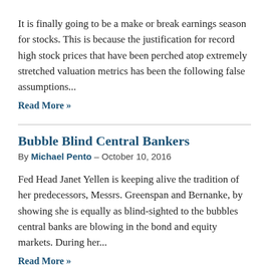It is finally going to be a make or break earnings season for stocks. This is because the justification for record high stock prices that have been perched atop extremely stretched valuation metrics has been the following false assumptions…
Read More »
Bubble Blind Central Bankers
By Michael Pento – October 10, 2016
Fed Head Janet Yellen is keeping alive the tradition of her predecessors, Messrs. Greenspan and Bernanke, by showing she is equally as blind-sighted to the bubbles central banks are blowing in the bond and equity markets. During her…
Read More »